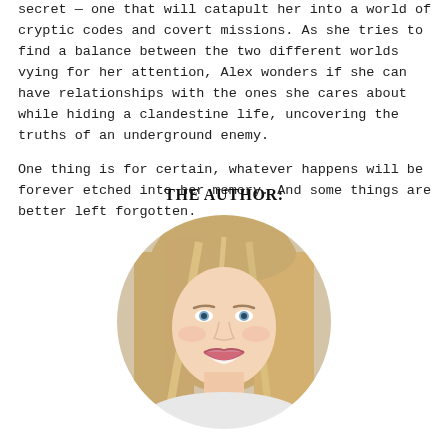secret — one that will catapult her into a world of cryptic codes and covert missions. As she tries to find a balance between the two different worlds vying for her attention, Alex wonders if she can have relationships with the ones she cares about while hiding a clandestine life, uncovering the truths of an underground enemy.

One thing is for certain, whatever happens will be forever etched into her memory. And some things are better left forgotten.
THE AUTHOR:
[Figure (photo): Circular portrait photo of a smiling blonde woman with straight hair, wearing a light-colored top, photographed against a bright background.]